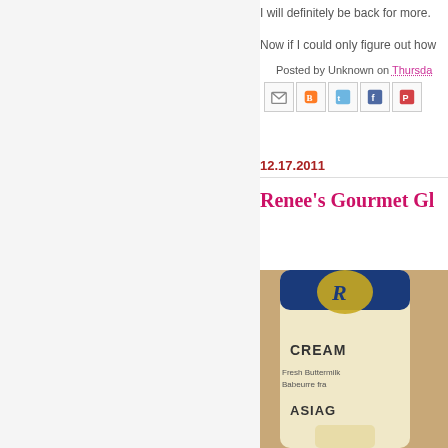I will definitely be back for more.
Now if I could only figure out how
Posted by Unknown on Thursda
[Figure (screenshot): Social share icons: email, blogger, twitter, facebook, pinterest]
12.17.2011
Renee's Gourmet Gl
[Figure (photo): Partial photo of a product bottle labeled CREAM, Fresh Buttermilk, ASIAG - appears to be a Renee's Gourmet salad dressing bottle with yellow and blue packaging]